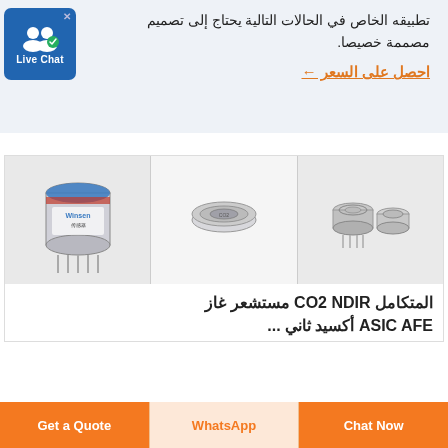تطبيقه الخاص في الحالات التالية يحتاج إلى تصميم مصممة خصيصا.
← احصل على السعر
[Figure (screenshot): Live Chat button widget with two person icons and a blue background]
[Figure (photo): Three gas sensor components: a cylindrical blue-topped sensor (Winsen brand), a flat round silver sensor, and two small metal cap sensors]
مستشعر غاز CO2 NDIR المتكامل ASIC AFE أكسيد ثاني ...
Get a Quote
WhatsApp
Chat Now